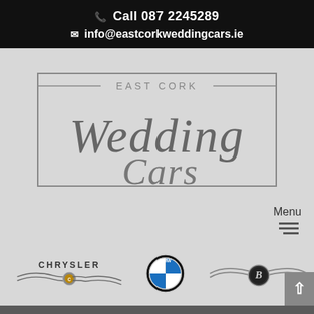Call 087 2245289
info@eastcorkweddingcars.ie
[Figure (logo): East Cork Wedding Cars ornate script logo with rectangular border]
Menu
[Figure (illustration): Hamburger menu icon (three horizontal lines)]
[Figure (logo): Chrysler, BMW, and Bentley car brand logos in a row]
Wedding Cars
Why not let East Cork Wedding Cars sweep you off